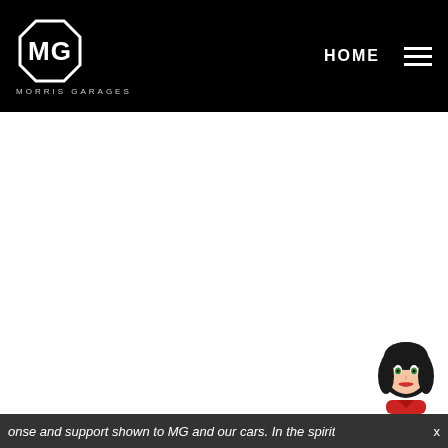[Figure (logo): MG Morris Garages logo — white MG letters inside an octagonal border, with MORRIS GARAGES text below, on black background]
HOME ☰
[Figure (illustration): Animated female chatbot avatar with dark hair, green eyes, and red outfit in lower right corner]
onse and support shown to MG and our cars. In the spirit   x